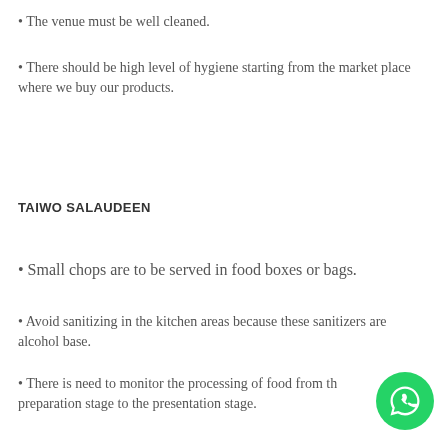The venue must be well cleaned.
There should be high level of hygiene starting from the market place where we buy our products.
TAIWO SALAUDEEN
Small chops are to be served in food boxes or bags.
Avoid sanitizing in the kitchen areas because these sanitizers are alcohol base.
There is need to monitor the processing of food from the preparation stage to the presentation stage.